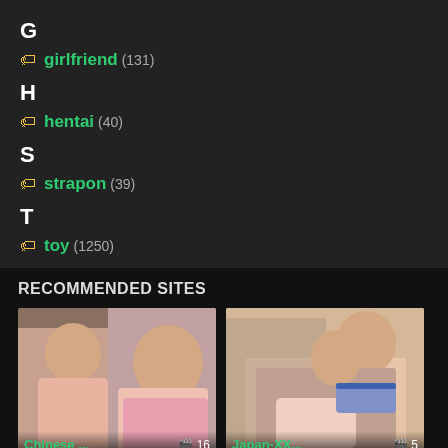G
girlfriend (131)
H
hentai (40)
S
strapon (39)
T
toy (1250)
RECOMMENDED SITES
[Figure (photo): Thumbnail image labeled Chinese... with camera icon and count 16]
[Figure (photo): Thumbnail image labeled Japan-XX... with camera icon and count 5]